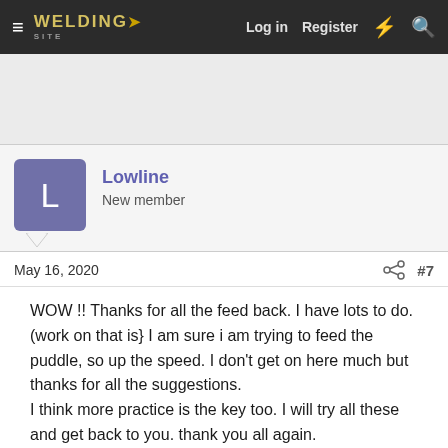Welding Site — Log in   Register
Lowline
New member
May 16, 2020   #7
WOW !! Thanks for all the feed back. I have lots to do. (work on that is} I am sure i am trying to feed the puddle, so up the speed. I don't get on here much but thanks for all the suggestions.
I think more practice is the key too. I will try all these and get back to you. thank you all again.